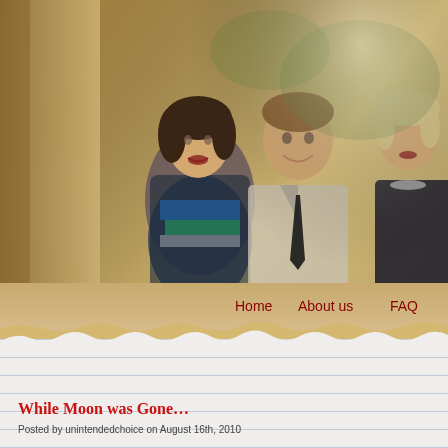[Figure (photo): Website screenshot showing a vintage/aged paper background with a photo of three young people (two women and a man in a suit with a tie). Partially visible site title reading 'Lette...' in dark red italic font. Navigation links: Home, About us, FAQ. Bottom portion shows a lined paper content area with a blog post title.]
Lette...
Home   About us   FAQ
While Moon was Gone…
Posted by unintendedchoice on August 16th, 2010